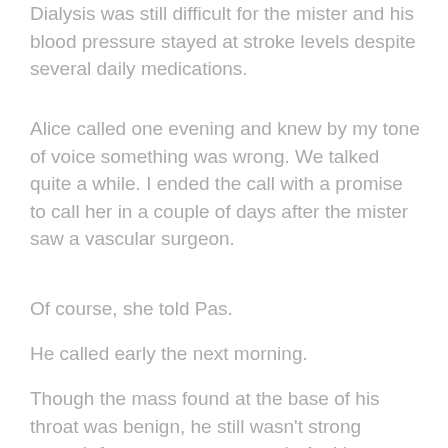Dialysis was still difficult for the mister and his blood pressure stayed at stroke levels despite several daily medications.
Alice called one evening and knew by my tone of voice something was wrong. We talked quite a while. I ended the call with a promise to call her in a couple of days after the mister saw a vascular surgeon.
Of course, she told Pas.
He called early the next morning.
Though the mass found at the base of his throat was benign, he still wasn't strong enough for surgery to remove it. And it